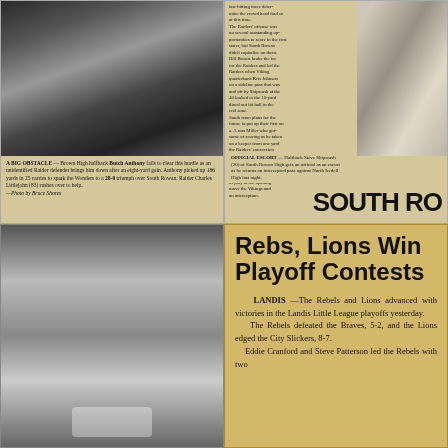[Figure (photo): Black and white newspaper photo of football action — Brown High halfback Butch Anthony being tackled by an unidentified Raider defender]
A BIG OBSTACLE — Brown High halfback Butch Anthony fails to clear this hurdle as an unidentified Raider defender brings him down after an eight-yard gain. Anthony picked up 186 yards in 25 carries to spark the Wonders to a 28-0 triumph over South Rowan. Raider Charles Littlejohn (83) rushes over to help. —Photo by Bruce Shores
[Figure (photo): Newspaper clipping with text columns about South Rowan football and a partial photo of players; large bold heading 'SOUTH RO' visible at bottom right]
OFFICIAL ESCORT — Halfback Steve Shipwash (20) of South Rowan High gets an official as an escort as he returns an intercepted pass against North Iredell High last night.
[Figure (photo): Black and white portrait photo of a young male athlete in football jersey with number visible]
[Figure (photo): Newspaper clipping with large bold headline 'Rebs, Lions Win Playoff Contests' and article text about Landis Little League playoffs]
Rebs, Lions Win Playoff Contests
LANDIS —The Rebels and Lions advanced with victories in the Landis Little League playoffs yesterday. The Rebels defeated the Braves, 5-2, and the Lions edged the City Slickers, 8-7. Eddie Cranford and Steve Patterson led the Rebels with two